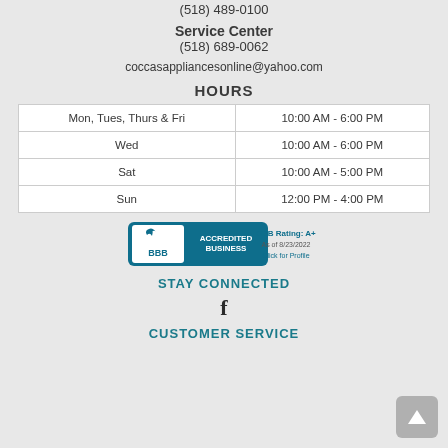(518) 489-0100
Service Center
(518) 689-0062
coccasappliancesonline@yahoo.com
HOURS
| Day | Hours |
| --- | --- |
| Mon, Tues, Thurs & Fri | 10:00 AM - 6:00 PM |
| Wed | 10:00 AM - 6:00 PM |
| Sat | 10:00 AM - 5:00 PM |
| Sun | 12:00 PM - 4:00 PM |
[Figure (logo): BBB Accredited Business badge. BBB Rating: A+. As of 8/23/2022. Click for Profile.]
STAY CONNECTED
[Figure (logo): Facebook icon]
CUSTOMER SERVICE